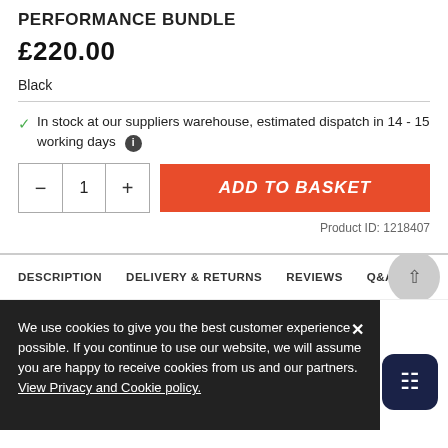PERFORMANCE BUNDLE
£220.00
Black
✓ In stock at our suppliers warehouse, estimated dispatch in 14 - 15 working days ℹ
1
ADD TO BASKET
Product ID: 1218407
DESCRIPTION   DELIVERY & RETURNS   REVIEWS   Q&A
ENAB
MANC
We use cookies to give you the best customer experience possible. If you continue to use our website, we will assume you are happy to receive cookies from us and our partners. View Privacy and Cookie policy.